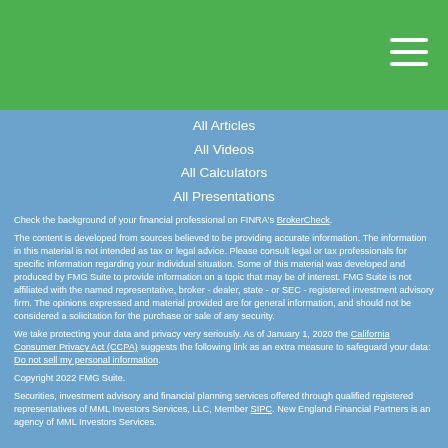All Articles
All Videos
All Calculators
All Presentations
Check the background of your financial professional on FINRA's BrokerCheck.
The content is developed from sources believed to be providing accurate information. The information in this material is not intended as tax or legal advice. Please consult legal or tax professionals for specific information regarding your individual situation. Some of this material was developed and produced by FMG Suite to provide information on a topic that may be of interest. FMG Suite is not affiliated with the named representative, broker - dealer, state - or SEC - registered investment advisory firm. The opinions expressed and material provided are for general information, and should not be considered a solicitation for the purchase or sale of any security.
We take protecting your data and privacy very seriously. As of January 1, 2020 the California Consumer Privacy Act (CCPA) suggests the following link as an extra measure to safeguard your data: Do not sell my personal information.
Copyright 2022 FMG Suite.
Securities, investment advisory and financial planning services offered through qualified registered representatives of MML Investors Services, LLC, Member SIPC. New England Financial Partners is an agency of MML Investors Services.